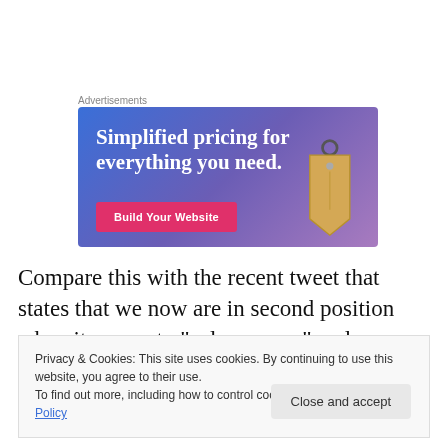Advertisements
[Figure (illustration): Advertisement banner with gradient blue-purple background showing text 'Simplified pricing for everything you need.' with a pink 'Build Your Website' button and a decorative price tag image on the right.]
Compare this with the recent tweet that states that we now are in second position when it comes to “solar energy” and
Privacy & Cookies: This site uses cookies. By continuing to use this website, you agree to their use.
To find out more, including how to control cookies, see here: Cookie Policy
[Close and accept]